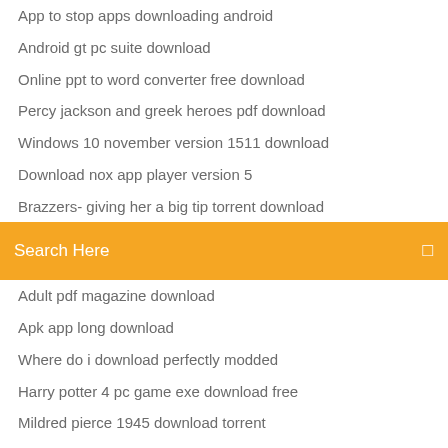App to stop apps downloading android
Android gt pc suite download
Online ppt to word converter free download
Percy jackson and greek heroes pdf download
Windows 10 november version 1511 download
Download nox app player version 5
Brazzers- giving her a big tip torrent download
[Figure (screenshot): Orange search bar with text 'Search Here' and a small search icon on the right]
Adult pdf magazine download
Apk app long download
Where do i download perfectly modded
Harry potter 4 pc game exe download free
Mildred pierce 1945 download torrent
Download password generator app
Can i download netflix app to laptop
How to download tumblr for your pc
Download torrents remotely qbtorrent
How to download mods for terraria tmodloader